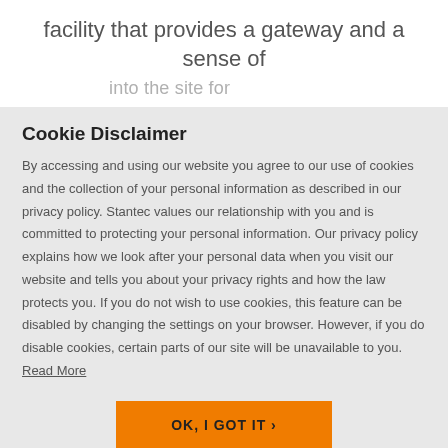facility that provides a gateway and a sense of
…into the site for …
Cookie Disclaimer
By accessing and using our website you agree to our use of cookies and the collection of your personal information as described in our privacy policy. Stantec values our relationship with you and is committed to protecting your personal information. Our privacy policy explains how we look after your personal data when you visit our website and tells you about your privacy rights and how the law protects you. If you do not wish to use cookies, this feature can be disabled by changing the settings on your browser. However, if you do disable cookies, certain parts of our site will be unavailable to you. Read More
OK, I GOT IT ›